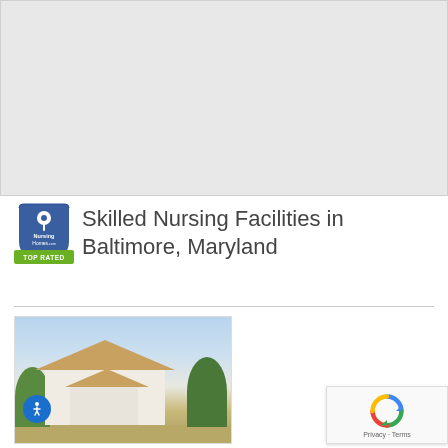[Figure (map): Gray placeholder map area showing a street/location map background]
[Figure (logo): NursingHomes.com TOP RATED badge logo — shield shape with location pin, text 'Nursing Homes.com' and green banner 'TOP RATED']
Skilled Nursing Facilities in Baltimore, Maryland
[Figure (photo): Exterior photo of a skilled nursing facility building with a white portico, brown/tan roof, and trees, under a blue sky]
[Figure (other): reCAPTCHA widget with spinning arrows logo and 'Privacy · Terms' text]